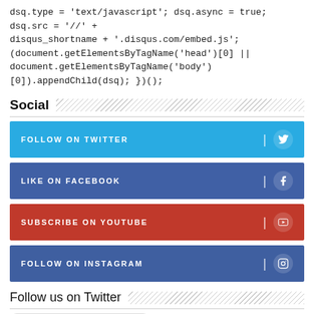dsq.type = 'text/javascript'; dsq.async = true; dsq.src = '//' + disqus_shortname + '.disqus.com/embed.js'; (document.getElementsByTagName('head')[0] || document.getElementsByTagName('body')[0]).appendChild(dsq); })();
Social
FOLLOW ON TWITTER
LIKE ON FACEBOOK
SUBSCRIBE ON YOUTUBE
FOLLOW ON INSTAGRAM
Follow us on Twitter
Tweets from @eazyfeeds